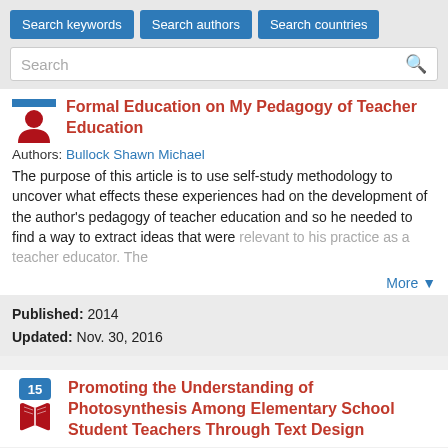[Figure (screenshot): Search interface with three blue buttons: Search keywords, Search authors, Search countries, and a search text input field below them]
Formal Education on My Pedagogy of Teacher Education
Authors: Bullock Shawn Michael
The purpose of this article is to use self-study methodology to uncover what effects these experiences had on the development of the author's pedagogy of teacher education and so he needed to find a way to extract ideas that were relevant to his practice as a teacher educator. The
More ▼
Published: 2014
Updated: Nov. 30, 2016
Promoting the Understanding of Photosynthesis Among Elementary School Student Teachers Through Text Design